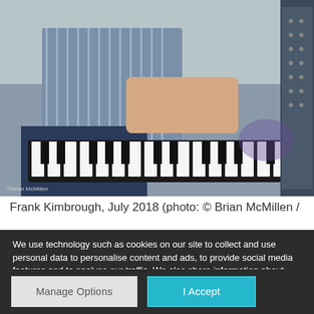[Figure (photo): Person playing piano, hands on piano keys, viewed from above/side. Photo credit visible at bottom left.]
Frank Kimbrough, July 2018 (photo: © Brian McMillen /
We use technology such as cookies on our site to collect and use personal data to personalise content and ads, to provide social media features and to analyse our traffic. We also share information about your use of our site and interests with our partners who also use technologies such as cookies to collect and use personal data to personalise content and ads, to provide social media features and to analyse our traffic on our site and across the internet. You can always change your mind and revisit your choices.